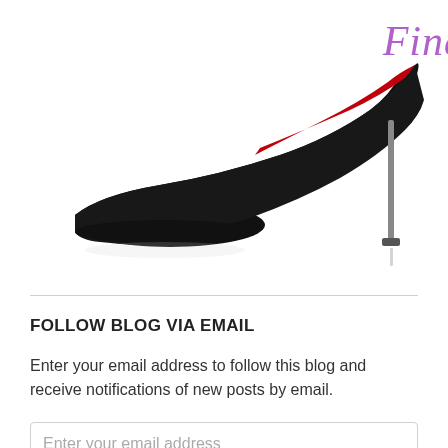[Figure (illustration): Black high-heel stiletto shoe with red sole and silver heel, partially cropped. The word 'Finalist' appears in purple text above/on the shoe.]
FOLLOW BLOG VIA EMAIL
Enter your email address to follow this blog and receive notifications of new posts by email.
Enter your email address
Follow